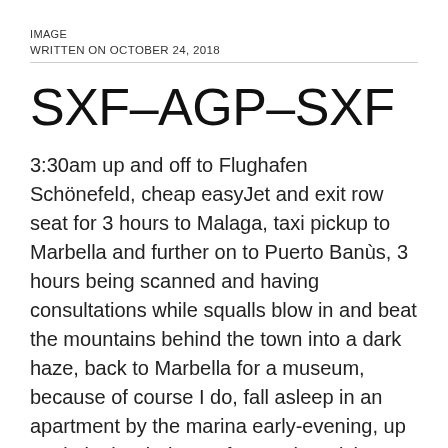IMAGE
WRITTEN ON OCTOBER 24, 2018
SXF–AGP–SXF
3:30am up and off to Flughafen Schönefeld, cheap easyJet and exit row seat for 3 hours to Malaga, taxi pickup to Marbella and further on to Puerto Banùs, 3 hours being scanned and having consultations while squalls blow in and beat the mountains behind the town into a dark haze, back to Marbella for a museum, because of course I do, fall asleep in an apartment by the marina early-evening, up again in the darkness for another pickup back